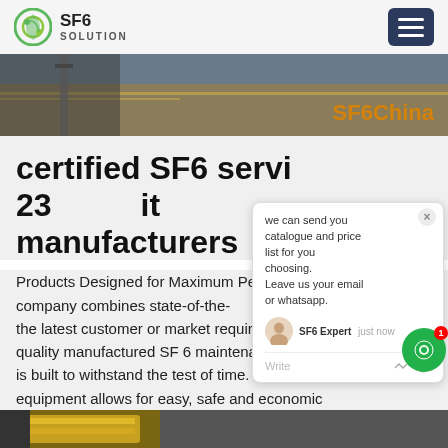SF6 SOLUTION
[Figure (photo): Banner image showing outdoor ground with SF6China text overlay in orange]
certified SF6 servi 23 it manufacturers
Products Designed for Maximum Performance. Our company combines state-of-the-art technology with the latest customer or market requirements. High quality manufactured SF 6 maintenance equipment is built to withstand the test of time. Our service equipment allows for easy, safe and economic maintenance. Whether maintenance is performed on medium voltage switchgear, high voltage switchgear or on gas-insulated lines, our company's
[Figure (screenshot): Chat popup overlay with message: we can send you catalogue and price list for you choosing. Leave us your email or whatsapp. SF6 Expert just now. Write input area.]
[Figure (photo): Bottom strip image showing yellow industrial equipment]